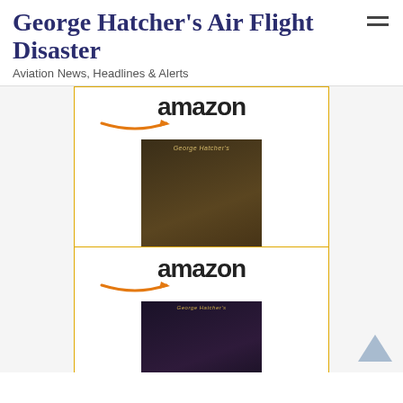George Hatcher's Air Flight Disaster
Aviation News, Headlines & Alerts
[Figure (screenshot): Amazon product widget for 'Billion Dollar Rainmaker' book by George Hatcher, priced at $22.85 with Prime, showing amazon logo, book cover, title link, price, and Shop now button]
[Figure (screenshot): Second Amazon product widget showing another George Hatcher book 'GABI' with amazon logo and book cover, partially visible]